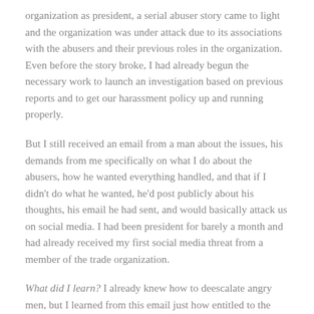organization as president, a serial abuser story came to light and the organization was under attack due to its associations with the abusers and their previous roles in the organization. Even before the story broke, I had already begun the necessary work to launch an investigation based on previous reports and to get our harassment policy up and running properly.
But I still received an email from a man about the issues, his demands from me specifically on what I do about the abusers, how he wanted everything handled, and that if I didn't do what he wanted, he'd post publicly about his thoughts, his email he had sent, and would basically attack us on social media. I had been president for barely a month and had already received my first social media threat from a member of the trade organization.
What did I learn? I already knew how to deescalate angry men, but I learned from this email just how entitled to the information of victims men feel, and how entitled they feel to have their needs met over the organization's or the victim's